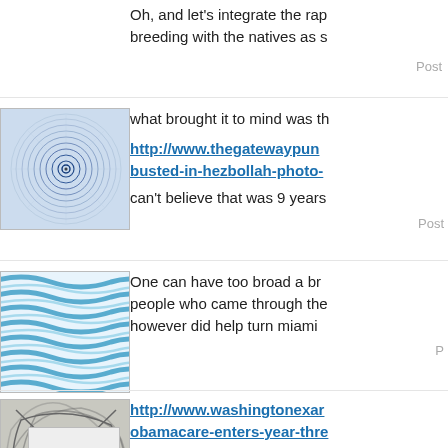Oh, and let's integrate the rap... breeding with the natives as s...
Posted
[Figure (illustration): Circular spiral/mandala pattern avatar image with dark center on blue background]
what brought it to mind was th
http://www.thegatewaypun... busted-in-hezbollah-photo-
can't believe that was 9 years
Posted
[Figure (illustration): Wavy horizontal lines pattern avatar in blue tones]
One can have too broad a br... people who came through the... however did help turn miami
P
[Figure (illustration): Abstract geometric lines/curves on gray background avatar]
http://www.washingtonexar... obamacare-enters-year-thre
Posted
[Figure (illustration): Small avatar thumbnail at bottom, partially visible]